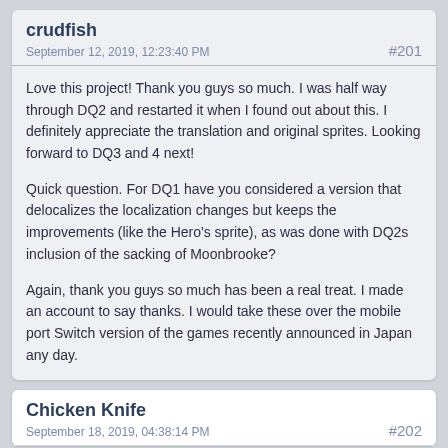crudfish
September 12, 2019, 12:23:40 PM  #201
Love this project! Thank you guys so much. I was half way through DQ2 and restarted it when I found out about this. I definitely appreciate the translation and original sprites. Looking forward to DQ3 and 4 next!
Quick question. For DQ1 have you considered a version that delocalizes the localization changes but keeps the improvements (like the Hero's sprite), as was done with DQ2s inclusion of the sacking of Moonbrooke?
Again, thank you guys so much has been a real treat. I made an account to say thanks. I would take these over the mobile port Switch version of the games recently announced in Japan any day.
Chicken Knife
September 18, 2019, 04:38:14 PM  #202